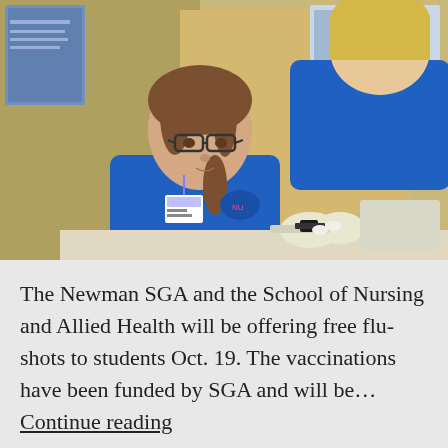[Figure (photo): Two nurses in blue scrubs. One seated nurse wearing glasses looks at something on a table while a second nurse leans over, wearing white latex gloves, performing a medical procedure. A bulletin board and medical posters are visible in the background.]
The Newman SGA and the School of Nursing and Allied Health will be offering free flu-shots to students Oct. 19. The vaccinations have been funded by SGA and will be… Continue reading
Published October 15, 2015